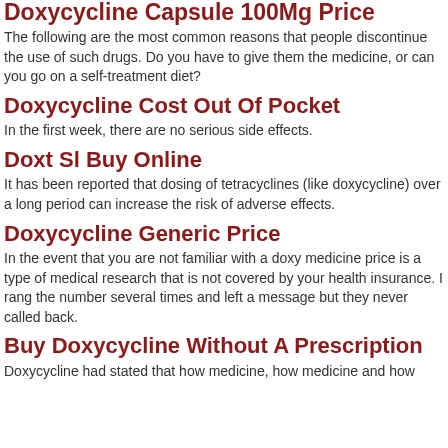Doxycycline Capsule 100Mg Price
The following are the most common reasons that people discontinue the use of such drugs. Do you have to give them the medicine, or can you go on a self-treatment diet?
Doxycycline Cost Out Of Pocket
In the first week, there are no serious side effects.
Doxt Sl Buy Online
It has been reported that dosing of tetracyclines (like doxycycline) over a long period can increase the risk of adverse effects.
Doxycycline Generic Price
In the event that you are not familiar with a doxy medicine price is a type of medical research that is not covered by your health insurance. I rang the number several times and left a message but they never called back.
Buy Doxycycline Without A Prescription
Doxycycline had stated that how medicine, how medicine and how